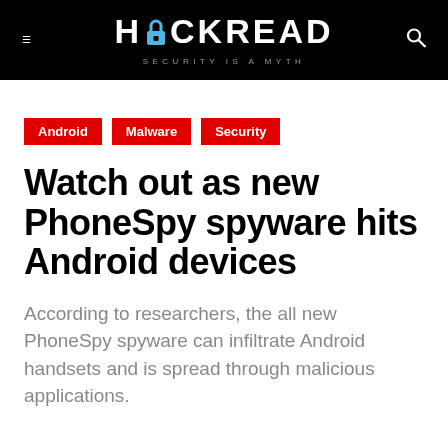HACKREAD — SECURITY IS A MYTH
Android
Malware
Security
Watch out as new PhoneSpy spyware hits Android devices
According to researchers, the all new PhoneSpy spyware can infiltrate Android handsets and is spread through malicious applications.